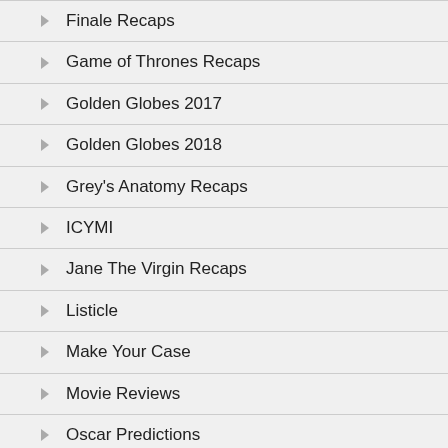Finale Recaps
Game of Thrones Recaps
Golden Globes 2017
Golden Globes 2018
Grey's Anatomy Recaps
ICYMI
Jane The Virgin Recaps
Listicle
Make Your Case
Movie Reviews
Oscar Predictions